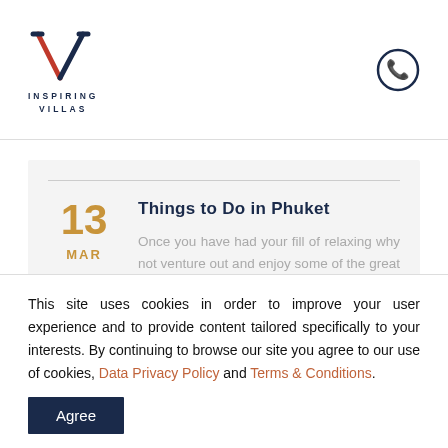[Figure (logo): Inspiring Villas logo with V chevron mark in navy and red, and text INSPIRING VILLAS below]
[Figure (illustration): Phone icon in navy circle, top right of header]
Things to Do in Phuket
Once you have had your fill of relaxing why not venture out and enjoy some of the great places to vi...
This site uses cookies in order to improve your user experience and to provide content tailored specifically to your interests. By continuing to browse our site you agree to our use of cookies, Data Privacy Policy and Terms & Conditions.
Agree